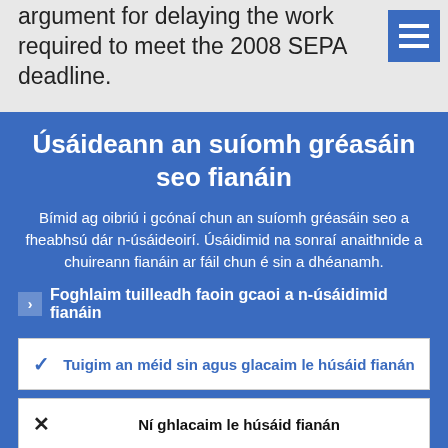argument for delaying the work required to meet the 2008 SEPA deadline.
Úsáideann an suíomh gréasáin seo fianáin
Bímid ag oibriú i gcónaí chun an suíomh gréasáin seo a fheabhsú dár n-úsáideoirí. Úsáidimid na sonraí anaithnide a chuireann fianáin ar fáil chun é sin a dhéanamh.
Foghlaim tuilleadh faoin gcaoi a n-úsáidimid fianáin
Tuigim an méid sin agus glacaim le húsáid fianán
Ní ghlacaim le húsáid fianán